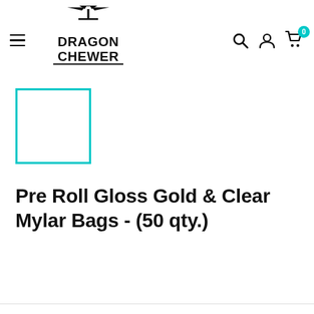Dragon Chewer – navigation header with hamburger menu, logo, search, account, and cart icons
[Figure (illustration): Small cyan-bordered square thumbnail placeholder box]
Pre Roll Gloss Gold & Clear Mylar Bags - (50 qty.)